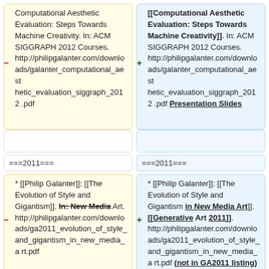Computational Aesthetic Evaluation: Steps Towards Machine Creativity. In: ACM SIGGRAPH 2012 Courses. http://philipgalanter.com/downloads/galanter_computational_aesthetic_evaluation_siggraph_2012.pdf
[[Computational Aesthetic Evaluation: Steps Towards Machine Creativity]]. In: ACM SIGGRAPH 2012 Courses. http://philipgalanter.com/downloads/galanter_computational_aesthetic_evaluation_siggraph_2012.pdf Presentation Slides
===2011===
===2011===
* [[Philip Galanter]]: [[The Evolution of Style and Gigantism]]. In: New Media Art. http://philipgalanter.com/downloads/ga2011_evolution_of_style_and_gigantism_in_new_media_art.pdf
* [[Philip Galanter]]: [[The Evolution of Style and Gigantism in New Media Art]]. [[Generative Art 2011]]. http://philipgalanter.com/downloads/ga2011_evolution_of_style_and_gigantism_in_new_media_art.pdf (not in GA2011 listing)